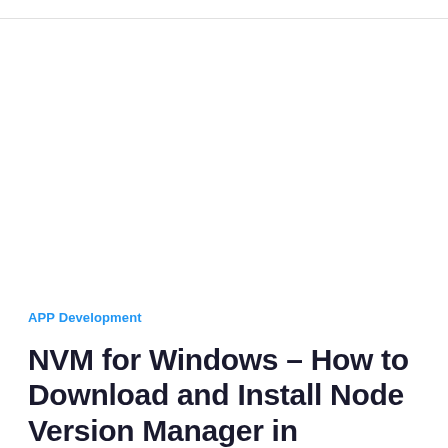APP Development
NVM for Windows – How to Download and Install Node Version Manager in Windows 10